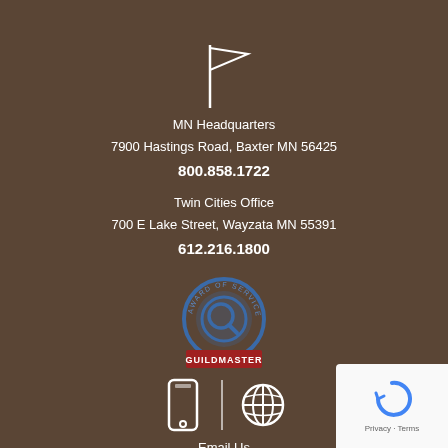[Figure (illustration): White outline flag icon on brown background]
MN Headquarters
7900 Hastings Road, Baxter MN 56425
800.858.1722
Twin Cities Office
700 E Lake Street, Wayzata MN 55391
612.216.1800
[Figure (logo): Guildmaster Award of Service Excellence circular badge with blue and red colors]
[Figure (illustration): Mobile phone icon and globe/world icon separated by a vertical divider line]
Email Us
[Figure (other): reCAPTCHA widget with Privacy - Terms text]